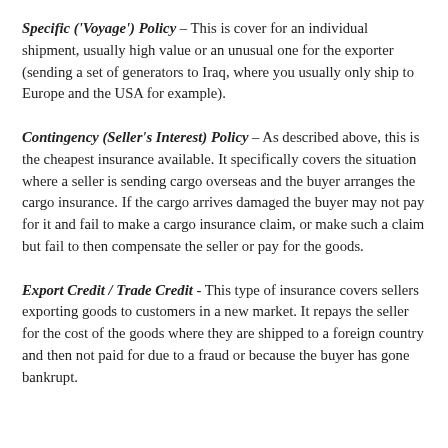Specific ('Voyage') Policy – This is cover for an individual shipment, usually high value or an unusual one for the exporter (sending a set of generators to Iraq, where you usually only ship to Europe and the USA for example).
Contingency (Seller's Interest) Policy – As described above, this is the cheapest insurance available. It specifically covers the situation where a seller is sending cargo overseas and the buyer arranges the cargo insurance. If the cargo arrives damaged the buyer may not pay for it and fail to make a cargo insurance claim, or make such a claim but fail to then compensate the seller or pay for the goods.
Export Credit / Trade Credit - This type of insurance covers sellers exporting goods to customers in a new market. It repays the seller for the cost of the goods where they are shipped to a foreign country and then not paid for due to a fraud or because the buyer has gone bankrupt.